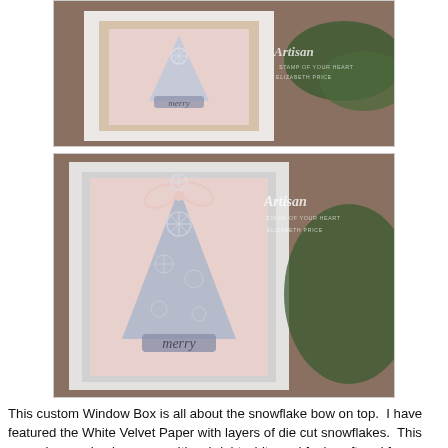[Figure (photo): Top photo showing a handmade Christmas card with a snowflake Christmas tree shape on pink/blush velvet paper, with 'merry' text die cut, framed in white and gold, with greenery in background. Artisan Elizabeth Price watermark visible.]
[Figure (photo): Bottom close-up photo of the same handmade Christmas card showing the snowflake bow on top of the tree shape, white velvet paper with layered die cut snowflakes forming a Christmas tree silhouette, 'merry' die cut at bottom, pink twine bow at top. Artisan Elizabeth Price watermark visible.]
This custom Window Box is all about the snowflake bow on top.  I have featured the White Velvet Paper with layers of die cut snowflakes.  This paper is amazing in person.  It's a bright white and feels soft and fuzzy just like velvet, you have to get some.  On top of the white velvet snowflakes are